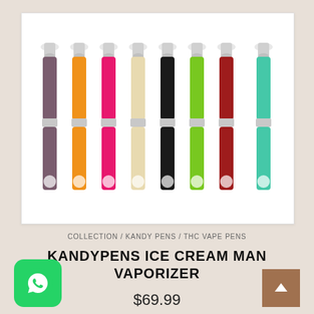[Figure (photo): Eight KandyPens Ice Cream Man vaporizer pens in different colors (purple, orange, pink, cream/beige, black, green, dark red, purple, teal) standing upright with white mouthpieces and silver middle bands, brand logo visible at bottom of each pen]
COLLECTION / KANDY PENS / THC VAPE PENS
KANDYPENS ICE CREAM MAN VAPORIZER
$69.99